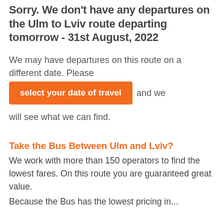Sorry. We don't have any departures on the Ulm to Lviv route departing tomorrow - 31st August, 2022
We may have departures on this route on a different date. Please select your date of travel and we will see what we can find.
Take the Bus Between Ulm and Lviv?
We work with more than 150 operators to find the lowest fares. On this route you are guaranteed great value.
Because the Bus has the lowest pricing in...